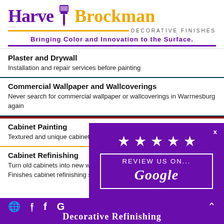[Figure (logo): Harvey Brockman Decorative Finishes logo with paint brush icon, purple and gold text, and yellow horizontal rule]
Bringing Color and Innovation to the Surface.
Plaster and Drywall
Installation and repair services before painting
Commercial Wallpaper and Wallcoverings
Never search for commercial wallpaper or wallcoverings in Warrnesburg again
Cabinet Painting
Textured and unique cabinet painting in Warrnesburg is our specialty
Cabinet Refinishing
Turn old cabinets into new with Harve Brockman Decorative Finishes cabinet refinishing serv…
[Figure (infographic): Purple Google Review popup overlay with 5 stars and text REVIEW US ON... Google with close button x]
Decorative Refinishing